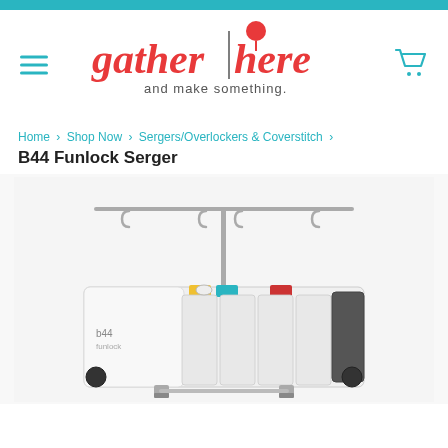gather here and make something.
Home › Shop Now › Sergers/Overlockers & Coverstitch ›
B44 Funlock Serger
[Figure (photo): B44 Funlock Serger machine with thread stand and colored thread guides in yellow, teal, and red on a white background.]